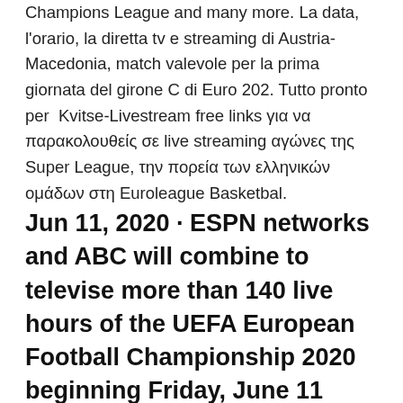Champions League and many more. La data, l'orario, la diretta tv e streaming di Austria-Macedonia, match valevole per la prima giornata del girone C di Euro 202. Tutto pronto per  Kvitse-Livestream free links για να παρακολουθείς σε live streaming αγώνες της Super League, την πορεία των ελληνικών ομάδων στη Euroleague Basketbal.
Jun 11, 2020 · ESPN networks and ABC will combine to televise more than 140 live hours of the UEFA European Football Championship 2020 beginning Friday, June 11 with the opening match in Rome, through the Final on Sunday, July 11